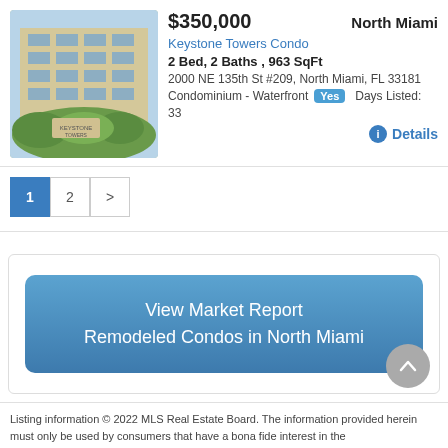[Figure (photo): Exterior photo of Keystone Towers condo building with green landscaping and sign in front]
$350,000
North Miami
Keystone Towers Condo
2 Bed, 2 Baths , 963 SqFt
2000 NE 135th St #209, North Miami, FL 33181
Condominium - Waterfront Yes Days Listed: 33
Details
View Market Report Remodeled Condos in North Miami
Listing information © 2022 MLS Real Estate Board. The information provided herein must only be used by consumers that have a bona fide interest in the